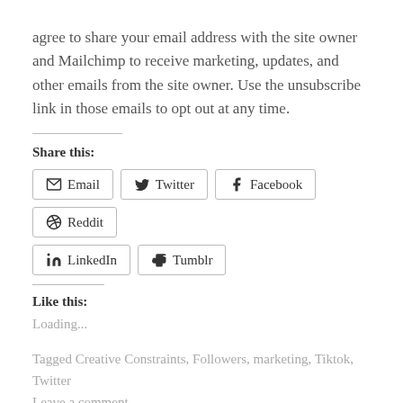agree to share your email address with the site owner and Mailchimp to receive marketing, updates, and other emails from the site owner. Use the unsubscribe link in those emails to opt out at any time.
Share this:
Email  Twitter  Facebook  Reddit  LinkedIn  Tumblr
Like this:
Loading...
Tagged Creative Constraints, Followers, marketing, Tiktok, Twitter
Leave a comment